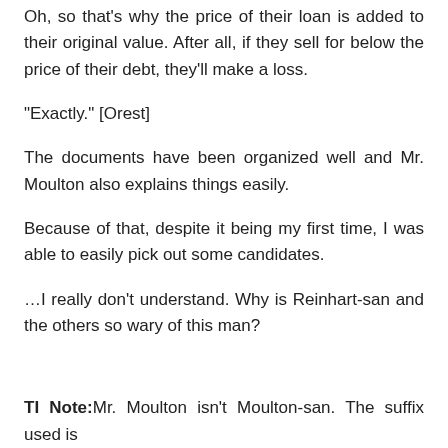Oh, so that's why the price of their loan is added to their original value. After all, if they sell for below the price of their debt, they'll make a loss.
“Exactly.” [Orest]
The documents have been organized well and Mr. Moulton also explains things easily.
Because of that, despite it being my first time, I was able to easily pick out some candidates.
…I really don’t understand. Why is Reinhart-san and the others so wary of this man?
TI Note: Mr. Moulton isn’t Moulton-san. The suffix used is